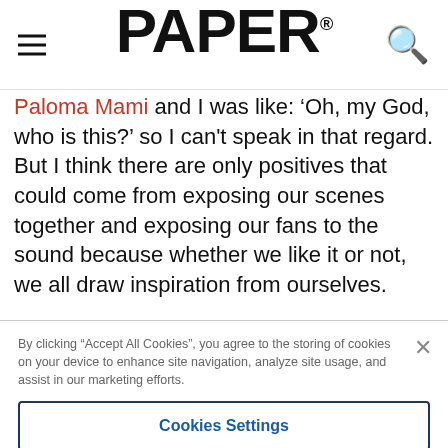PAPER
Paloma Mami and I was like: 'Oh, my God, who is this?' so I can't speak in that regard. But I think there are only positives that could come from exposing our scenes together and exposing our fans to the sound because whether we like it or not, we all draw inspiration from ourselves.
By clicking “Accept All Cookies”, you agree to the storing of cookies on your device to enhance site navigation, analyze site usage, and assist in our marketing efforts.
Cookies Settings
Reject All
Accept All Cookies